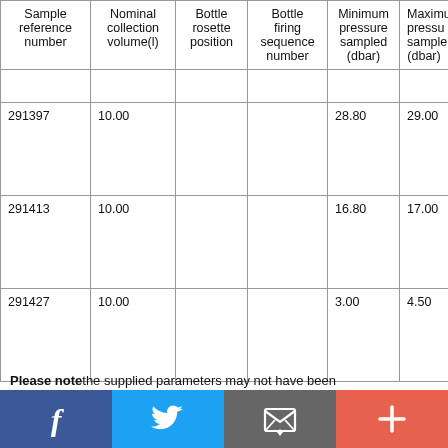| Sample reference number | Nominal collection volume(l) | Bottle rosette position | Bottle firing sequence number | Minimum pressure sampled (dbar) | Maximum pressure sampled (dbar) |
| --- | --- | --- | --- | --- | --- |
|  |  |  |  |  |  |
| 291397 | 10.00 |  |  | 28.80 | 29.00 |
| 291413 | 10.00 |  |  | 16.80 | 17.00 |
| 291427 | 10.00 |  |  | 3.00 | 4.50 |
Please note: the supplied parameters may not have been